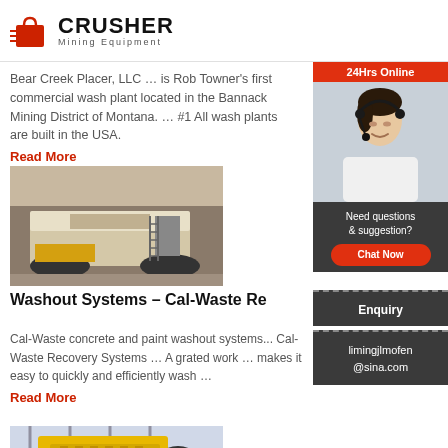[Figure (logo): Crusher Mining Equipment logo with red shopping bag icon and bold CRUSHER text]
Bear Creek Placer, LLC … is Rob Towner's first commercial wash plant located in the Bannack Mining District of Montana. … #1 All wash plants are built in the USA.
Read More
[Figure (photo): Large mobile crushing machine on rocky terrain]
Washout Systems – Cal-Waste Re
Cal-Waste concrete and paint washout systems... Cal-Waste Recovery Systems … A grated work … makes it easy to quickly and efficiently wash …
Read More
[Figure (photo): Yellow jaw crusher machine in industrial setting]
[Figure (photo): Sidebar: 24Hrs Online banner with customer service representative wearing headset]
Need questions & suggestion?
Chat Now
Enquiry
limingjlmofen@sina.com